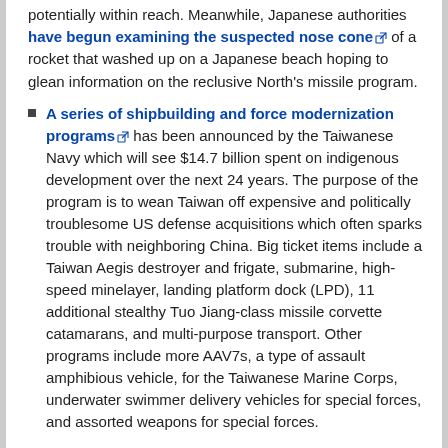potentially within reach. Meanwhile, Japanese authorities have begun examining the suspected nose cone of a rocket that washed up on a Japanese beach hoping to glean information on the reclusive North's missile program.
A series of shipbuilding and force modernization programs has been announced by the Taiwanese Navy which will see $14.7 billion spent on indigenous development over the next 24 years. The purpose of the program is to wean Taiwan off expensive and politically troublesome US defense acquisitions which often sparks trouble with neighboring China. Big ticket items include a Taiwan Aegis destroyer and frigate, submarine, high-speed minelayer, landing platform dock (LPD), 11 additional stealthy Tuo Jiang-class missile corvette catamarans, and multi-purpose transport. Other programs include more AAV7s, a type of assault amphibious vehicle, for the Taiwanese Marine Corps, underwater swimmer delivery vehicles for special forces, and assorted weapons for special forces.
Today's Video
US AH-64 and South Korean AH-1S attack helicopters in joint